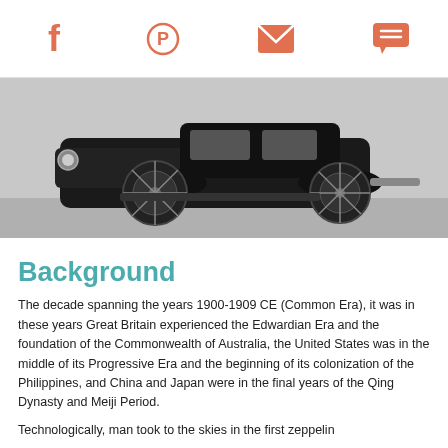[Social share icons: Facebook, Pinterest, Email, Chat]
[Figure (photo): Black and white photograph of an early 1900s automobile, viewed from a front-side angle, showing large spoked wheels, headlamps, and open engine compartment.]
Background
The decade spanning the years 1900-1909 CE (Common Era), it was in these years Great Britain experienced the Edwardian Era and the foundation of the Commonwealth of Australia, the United States was in the middle of its Progressive Era and the beginning of its colonization of the Philippines, and China and Japan were in the final years of the Qing Dynasty and Meiji Period.
Technologically, man took to the skies in the first zeppelin